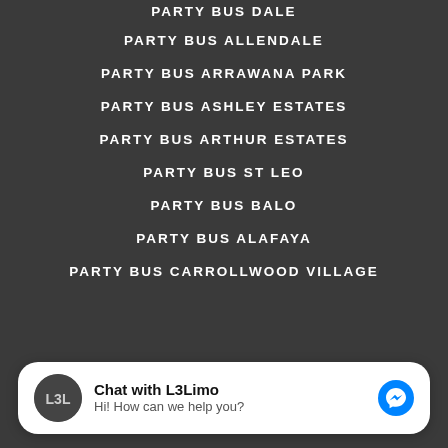PARTY BUS ALLENDALE
PARTY BUS ARRAWANA PARK
PARTY BUS ASHLEY ESTATES
PARTY BUS ARTHUR ESTATES
PARTY BUS ST LEO
PARTY BUS BALO
PARTY BUS ALAFAYA
PARTY BUS CARROLLWOOD VILLAGE
[Figure (screenshot): Facebook Messenger chat widget with L3Limo logo, title 'Chat with L3Limo', subtitle 'Hi! How can we help you?', and blue messenger icon]